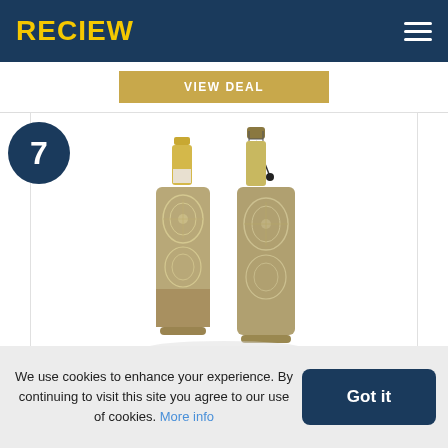RECIEW
VIEW DEAL
[Figure (photo): Two wine/champagne bottles in decorative silver-gold patterned bottle cooler sleeves on white background]
Vacu Vin
We use cookies to enhance your experience. By continuing to visit this site you agree to our use of cookies. More info